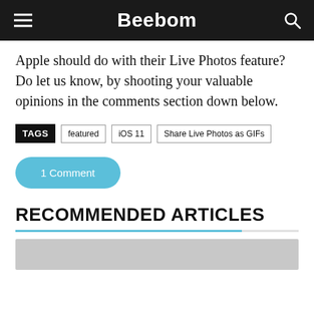Beebom
Apple should do with their Live Photos feature? Do let us know, by shooting your valuable opinions in the comments section down below.
TAGS  featured  iOS 11  Share Live Photos as GIFs
1 Comment
RECOMMENDED ARTICLES